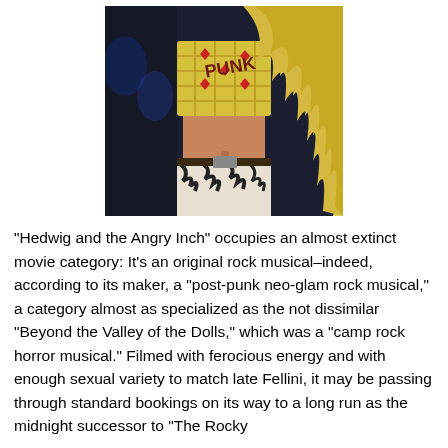[Figure (photo): A performer with long blonde wavy hair wearing a yellow plaid crop top with red diamond patterns and zebra print pants, performing on stage with colorful lights in the background.]
"Hedwig and the Angry Inch" occupies an almost extinct movie category: It's an original rock musical–indeed, according to its maker, a "post-punk neo-glam rock musical," a category almost as specialized as the not dissimilar "Beyond the Valley of the Dolls," which was a "camp rock horror musical." Filmed with ferocious energy and with enough sexual variety to match late Fellini, it may be passing through standard bookings on its way to a long run as the midnight successor to "The Rocky